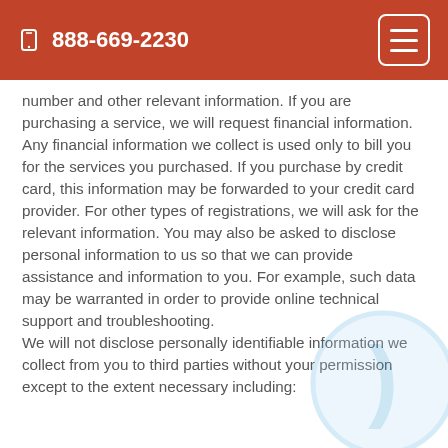888-669-2230
number and other relevant information. If you are purchasing a service, we will request financial information. Any financial information we collect is used only to bill you for the services you purchased. If you purchase by credit card, this information may be forwarded to your credit card provider. For other types of registrations, we will ask for the relevant information. You may also be asked to disclose personal information to us so that we can provide assistance and information to you. For example, such data may be warranted in order to provide online technical support and troubleshooting.
We will not disclose personally identifiable information we collect from you to third parties without your permission except to the extent necessary including: